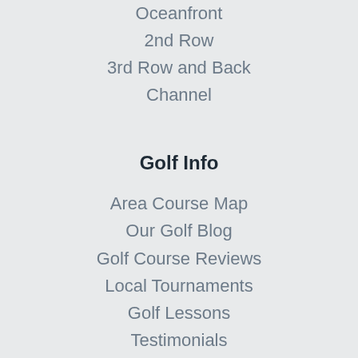Oceanfront
2nd Row
3rd Row and Back
Channel
Golf Info
Area Course Map
Our Golf Blog
Golf Course Reviews
Local Tournaments
Golf Lessons
Testimonials
FAQs
Visitor Info
Nightlife
Area Attractions